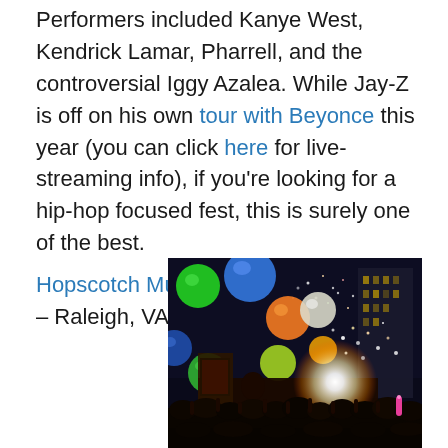Performers included Kanye West, Kendrick Lamar, Pharrell, and the controversial Iggy Azalea. While Jay-Z is off on his own tour with Beyonce this year (you can click here for live-streaming info), if you're looking for a hip-hop focused fest, this is surely one of the best.
Hopscotch Music Festival – Raleigh, VA – September 10-12
[Figure (photo): Outdoor concert at night with colorful large balloons (green, blue, orange, white, green) floating above a crowd. A bright light explosion is visible on stage with confetti in the air. A tall building is visible in the background.]